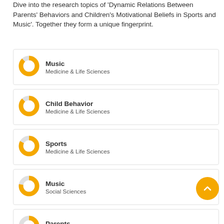Dive into the research topics of 'Dynamic Relations Between Parents' Behaviors and Children's Motivational Beliefs in Sports and Music'. Together they form a unique fingerprint.
Music — Medicine & Life Sciences
Child Behavior — Medicine & Life Sciences
Sports — Medicine & Life Sciences
Music — Social Sciences
Parents — Medicine & Life Sciences